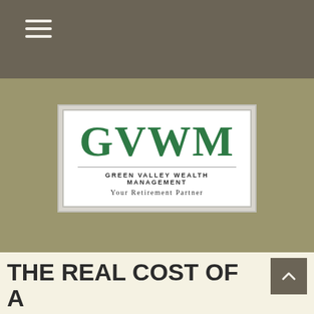Navigation bar with hamburger menu
[Figure (logo): Green Valley Wealth Management logo. Large dark green letters GVWM above a horizontal divider line, then 'GREEN VALLEY WEALTH MANAGEMENT' in bold uppercase small text, then 'Your Retirement Partner' in italic serif text. White background with double border frame.]
THE REAL COST OF A VACATION HOME